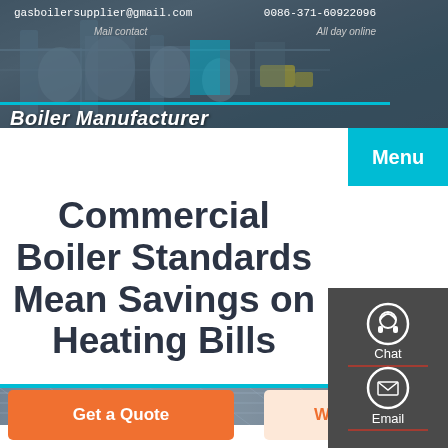gasboilersupplier@gmail.com   0086-371-60922096   Mail contact   All day online
[Figure (photo): Industrial boiler manufacturing facility viewed from above, showing large cylindrical boiler components and warehouse infrastructure]
Boiler Manufacturer
[Figure (screenshot): Menu button in teal/cyan color]
Commercial Boiler Standards Mean Savings on Heating Bills
[Figure (infographic): Right sidebar with Chat (headset icon), Email (envelope icon), and Contact (speech bubble icon) buttons on dark gray background]
[Figure (photo): Industrial facility interior showing structural roof trusses and ceiling]
Get a Quote
WhatsApp